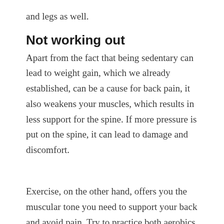and legs as well.
Not working out
Apart from the fact that being sedentary can lead to weight gain, which we already established, can be a cause for back pain, it also weakens your muscles, which results in less support for the spine. If more pressure is put on the spine, it can lead to damage and discomfort.
Exercise, on the other hand, offers you the muscular tone you need to support your back and avoid pain. Try to practice both aerobics and strength workouts two or three times per week, particularly those that focus on the core and back muscles, which are important in reducing back pain, as we are about to cover. Rest for a...